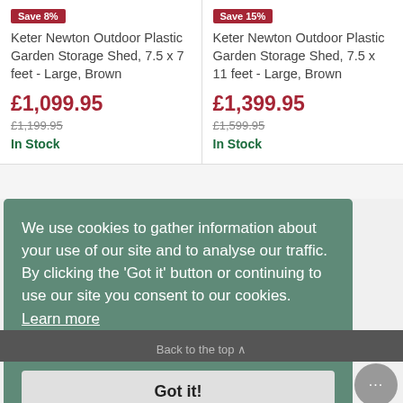Save 8%
Keter Newton Outdoor Plastic Garden Storage Shed, 7.5 x 7 feet - Large, Brown
£1,099.95
£1,199.95
In Stock
Save 15%
Keter Newton Outdoor Plastic Garden Storage Shed, 7.5 x 11 feet - Large, Brown
£1,399.95
£1,599.95
In Stock
We use cookies to gather information about your use of our site and to analyse our traffic. By clicking the 'Got it' button or continuing to use our site you consent to our cookies.  Learn more
Got it!
Back to the top ∧
Want to be the first to learn about our exclusive deals?